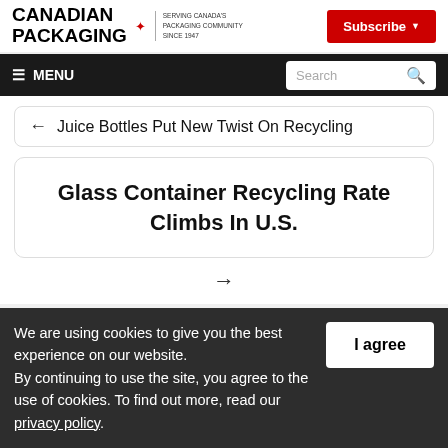CANADIAN PACKAGING — SERVING CANADA'S PACKAGING COMMUNITY SINCE 1947 | Subscribe
≡ MENU | Search
← Juice Bottles Put New Twist On Recycling
Glass Container Recycling Rate Climbs In U.S.
→
We are using cookies to give you the best experience on our website. By continuing to use the site, you agree to the use of cookies. To find out more, read our privacy policy.
I agree